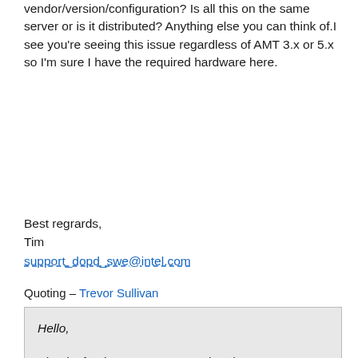vendor/version/configuration? Is all this on the same server or is it distributed? Anything else you can think of.I see you're seeing this issue regardless of AMT 3.x or 5.x so I'm sure I have the required hardware here.
Best regrards,
Tim
support_dopd_swe@intel.com
Quoting - Trevor Sullivan
Hello,

Thanks for the responses, Gael and Lance.

I am using Microsoft System Center Configuration Manager 2007 SP1 to provision the AMT devices. I get the same error message connecting to both an AMT 3.2.1 device, and an AMT 5.0.1 device. Most o the other functions of the Intel AMT DTK